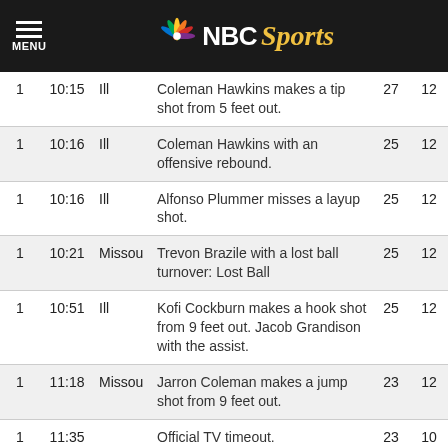NBC Sports
|  |  |  |  |  |  |
| --- | --- | --- | --- | --- | --- |
| 1 | 10:15 | Ill | Coleman Hawkins makes a tip shot from 5 feet out. | 27 | 12 |
| 1 | 10:16 | Ill | Coleman Hawkins with an offensive rebound. | 25 | 12 |
| 1 | 10:16 | Ill | Alfonso Plummer misses a layup shot. | 25 | 12 |
| 1 | 10:21 | Missou | Trevon Brazile with a lost ball turnover: Lost Ball | 25 | 12 |
| 1 | 10:51 | Ill | Kofi Cockburn makes a hook shot from 9 feet out. Jacob Grandison with the assist. | 25 | 12 |
| 1 | 11:18 | Missou | Jarron Coleman makes a jump shot from 9 feet out. | 23 | 12 |
| 1 | 11:35 |  | Official TV timeout. | 23 | 10 |
| 1 | 11:35 |  | Missou take a 20-second timeout. | 23 | 10 |
| 1 | 11:39 | Ill | Da'Monte Williams makes a 3-point jump shot from 24 feet out. Alfonso Plummer with the assist. | 23 | 10 |